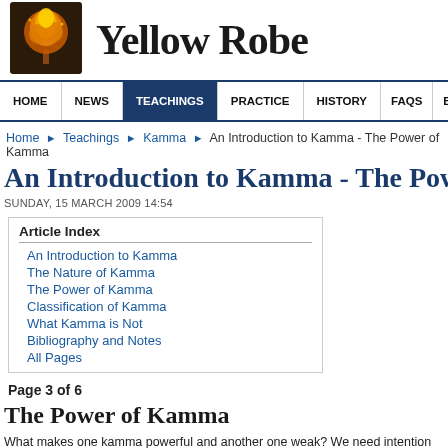[Figure (logo): Yellow Robe website logo with a stylized orange/yellow tree on dark background]
Yellow Robe
HOME | NEWS | TEACHINGS | PRACTICE | HISTORY | FAQS | BOOKS
Home › Teachings › Kamma › An Introduction to Kamma - The Power of Kamma
An Introduction to Kamma - The Pow
SUNDAY, 15 MARCH 2009 14:54
Article Index
An Introduction to Kamma
The Nature of Kamma
The Power of Kamma
Classification of Kamma
What Kamma is Not
Bibliography and Notes
All Pages
Page 3 of 6
The Power of Kamma
What makes one kamma powerful and another one weak? We need intention even to